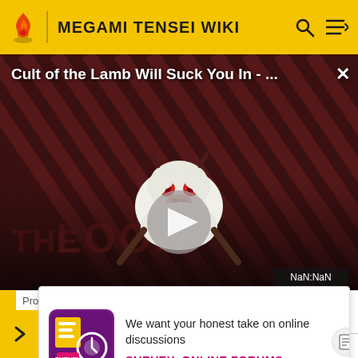MEGAMI TENSEI WIKI
[Figure (screenshot): Video overlay for 'Cult of the Lamb Will Suck You In - ...' with a diagonal striped dark red/maroon background, a cartoon lamb character, a play button icon, 'THE LOOP' text watermark, and a NaN:NaN time badge in the corner. An X close button appears top right.]
| Protagonist | ...party. |
[Figure (screenshot): Survey banner with a purple/magenta app icon graphic, text 'We want your honest take on online discussions', and a 'SURVEY: ONLINE FORUMS' link in magenta bold text.]